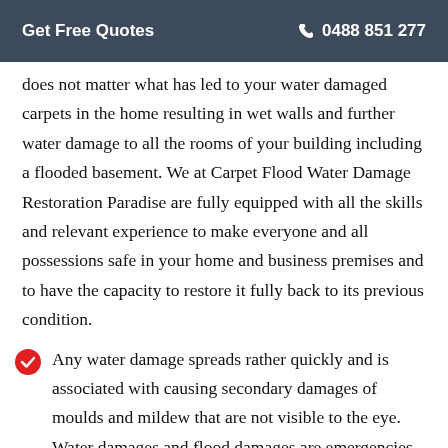Get Free Quotes   ☎ 0488 851 277
does not matter what has led to your water damaged carpets in the home resulting in wet walls and further water damage to all the rooms of your building including a flooded basement. We at Carpet Flood Water Damage Restoration Paradise are fully equipped with all the skills and relevant experience to make everyone and all possessions safe in your home and business premises and to have the capacity to restore it fully back to its previous condition.
Any water damage spreads rather quickly and is associated with causing secondary damages of moulds and mildew that are not visible to the eye. Water damages and flood damages are emergencies that need a quick response, we respond within an hour